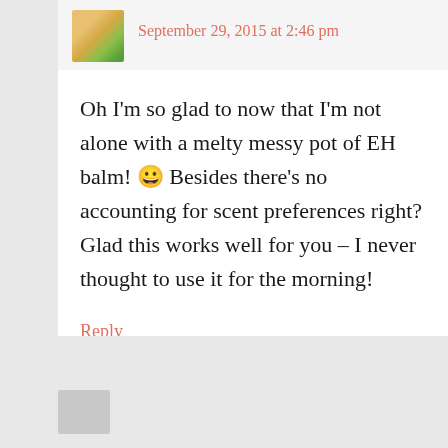[Figure (photo): Small avatar photo of a person]
September 29, 2015 at 2:46 pm
Oh I'm so glad to now that I'm not alone with a melty messy pot of EH balm! 😀 Besides there's no accounting for scent preferences right? Glad this works well for you – I never thought to use it for the morning!
Reply
[Figure (photo): Small gray avatar placeholder at bottom]